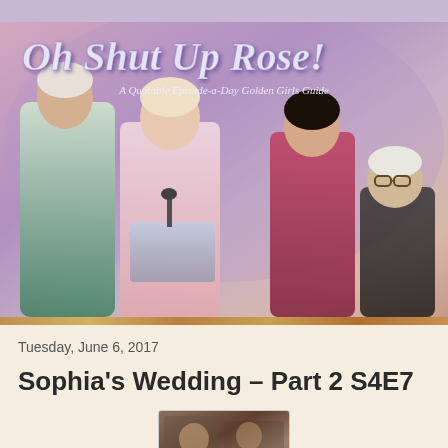[Figure (photo): Blog header photo showing four women (the Golden Girls cast) posed together, with the blog title 'Oh Shut Up Rose!' overlaid in stylized cursive/italic text, and subtitle 'A Quotable Episode-a-Day Golden Girls Guide']
Tuesday, June 6, 2017
Sophia's Wedding – Part 2 S4E7
[Figure (photo): Small thumbnail image at bottom of page, partially visible, appears to be a scene from the Golden Girls episode]